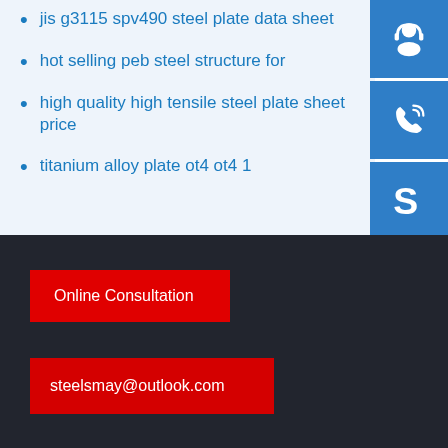jis g3115 spv490 steel plate data sheet
hot selling peb steel structure for
high quality high tensile steel plate sheet price
titanium alloy plate ot4 ot4 1
[Figure (illustration): Blue square icon with white headset/customer support symbol]
[Figure (illustration): Blue square icon with white phone/call symbol]
[Figure (illustration): Blue square icon with white Skype logo symbol]
Online Consultation
steelsmay@outlook.com